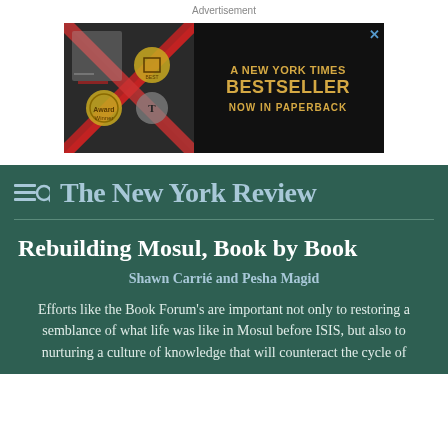Advertisement
[Figure (other): Advertisement banner for a New York Times Bestseller book, now in paperback. Black background with book imagery on left and gold text on right.]
The New York Review
Rebuilding Mosul, Book by Book
Shawn Carrié and Pesha Magid
Efforts like the Book Forum's are important not only to restoring a semblance of what life was like in Mosul before ISIS, but also to nurturing a culture of knowledge that will counteract the cycle of